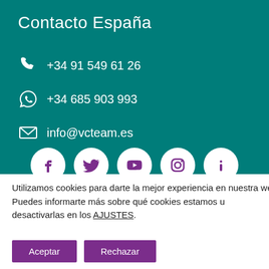Contacto España
+34 91 549 61 26
+34 685 903 993
info@vcteam.es
[Figure (infographic): Social media icons row: Facebook, Twitter, YouTube, Instagram, and Info — each in white circle on teal background]
Utilizamos cookies para darte la mejor experiencia en nuestra web.
Puedes informarte más sobre qué cookies estamos u... desactivarlas en los AJUSTES.
Whatsapp
Aceptar
Rechazar